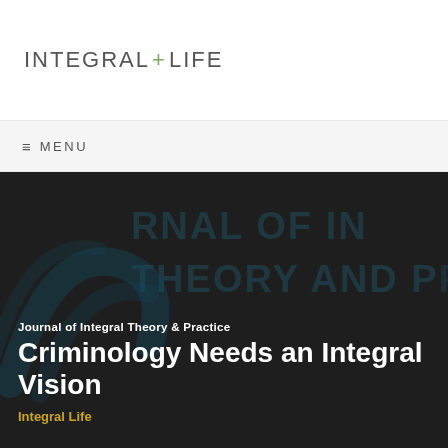[Figure (logo): Integral Life logo with green plus sign between INTEGRAL and LIFE text]
≡  MENU
[Figure (illustration): Dark hero banner with watermark text JOURNAL OF INTEGRAL THEORY AND PRACTICE and decorative arc logo mark in background]
Journal of Integral Theory & Practice
Criminology Needs an Integral Vision
Integral Life